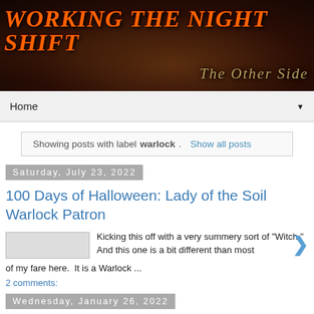[Figure (illustration): Blog banner with dark gothic background showing a moon/castle scene. Top left: 'WORKING THE NIGHT SHIFT' in orange grunge font. Bottom right: 'The Other Side' in gold/tan decorative serif font.]
Home ▼
Showing posts with label warlock.  Show all posts
Saturday, July 23, 2022
100 Days of Halloween: Lady of the Soil Warlock Patron
Kicking this off with a very summery sort of "Witch." And this one is a bit different than most of my fare here.  It is a Warlock ...
2 comments:
Wednesday, January 26, 2022